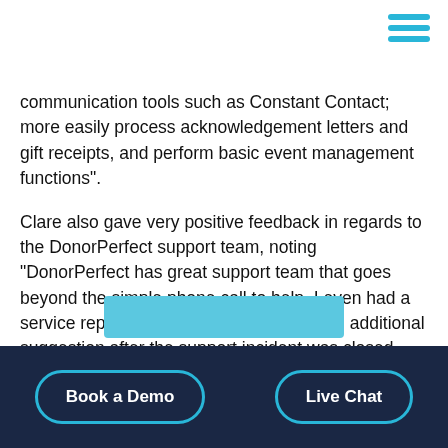[Figure (other): Hamburger menu icon with three horizontal blue lines in top-right corner]
communication tools such as Constant Contact; more easily process acknowledgement letters and gift receipts, and perform basic event management functions".
Clare also gave very positive feedback in regards to the DonorPerfect support team, noting “DonorPerfect has great support team that goes beyond the simple phone call to help. I even had a service rep send a follow-up email with an additional suggestion after the support incident was closed out.”
[Figure (photo): Partial image with blue background visible at bottom of page]
Book a Demo   Live Chat